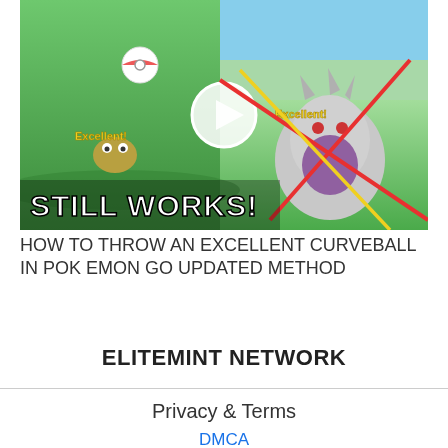[Figure (screenshot): Thumbnail image showing a Pokemon Go gameplay screenshot split into two panels with 'STILL WORKS!' text overlay and a play button. Left panel shows a Pokeball throw with 'Excellent!' text, right panel shows a large Pokemon (Tyranitar) with crossing red and yellow lines and 'Excellent!' text.]
HOW TO THROW AN EXCELLENT CURVEBALL IN POK EMON GO UPDATED METHOD
ELITEMINT NETWORK
Privacy & Terms
DMCA